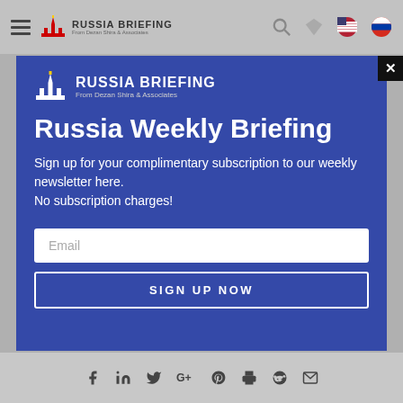[Figure (screenshot): Russia Briefing website header navigation bar with hamburger menu, logo, search icon, and flag icons]
[Figure (screenshot): Modal popup with blue background showing Russia Briefing newsletter signup form with email input and Sign Up Now button]
Russia Weekly Briefing
Sign up for your complimentary subscription to our weekly newsletter here.
No subscription charges!
[Figure (screenshot): Social media sharing icons at bottom: Facebook, LinkedIn, Twitter, Google+, Pinterest, Print, Reddit, Email]